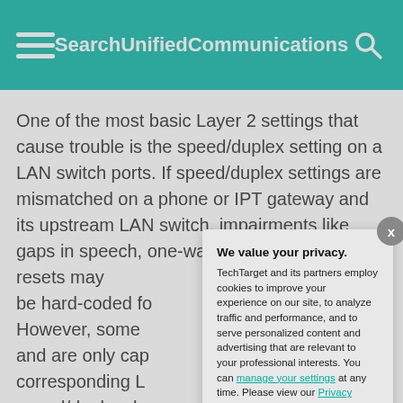SearchUnifiedCommunications
One of the most basic Layer 2 settings that cause trouble is the speed/duplex setting on a LAN switch ports. If speed/duplex settings are mismatched on a phone or IPT gateway and its upstream LAN switch, impairments like gaps in speech, one-way audio, and even resets may be hard-coded fo However, some and are only cap corresponding L speed/duplex, b
If access layer p data (or combine switch port depe that will connect 100/full, then loc
We value your privacy. TechTarget and its partners employ cookies to improve your experience on our site, to analyze traffic and performance, and to serve personalized content and advertising that are relevant to your professional interests. You can manage your settings at any time. Please view our Privacy Policy for more information
OK
Settings